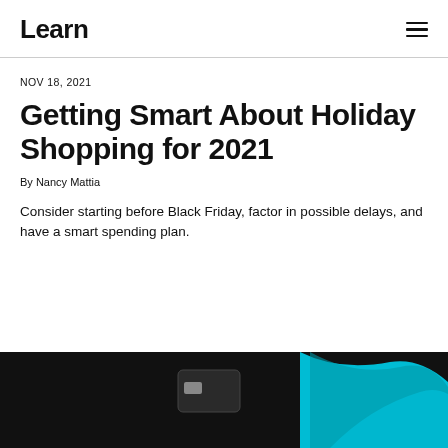Learn
NOV 18, 2021
Getting Smart About Holiday Shopping for 2021
By Nancy Mattia
Consider starting before Black Friday, factor in possible delays, and have a smart spending plan.
[Figure (photo): Dark background image showing a credit card and a blue ribbon or strap, partial view at the bottom of the page.]